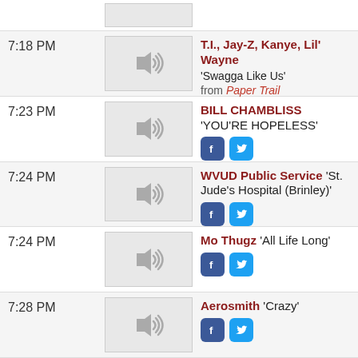7:18 PM — T.I., Jay-Z, Kanye, Lil' Wayne 'Swagga Like Us' from Paper Trail
7:23 PM — BILL CHAMBLISS 'YOU'RE HOPELESS'
7:24 PM — WVUD Public Service 'St. Jude's Hospital (Brinley)'
7:24 PM — Mo Thugz 'All Life Long'
7:28 PM — Aerosmith 'Crazy'